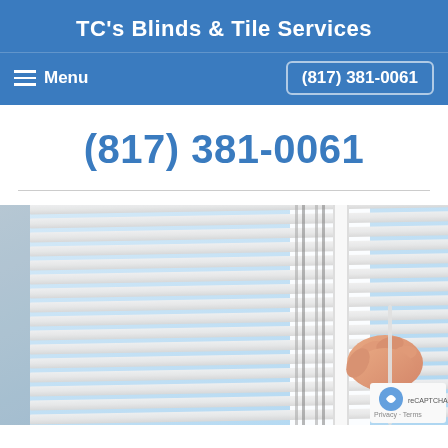TC's Blinds & Tile Services
Menu   (817) 381-0061
(817) 381-0061
[Figure (photo): A person's hand adjusting white horizontal window blinds, close-up view showing the slats and cords of venetian blinds]